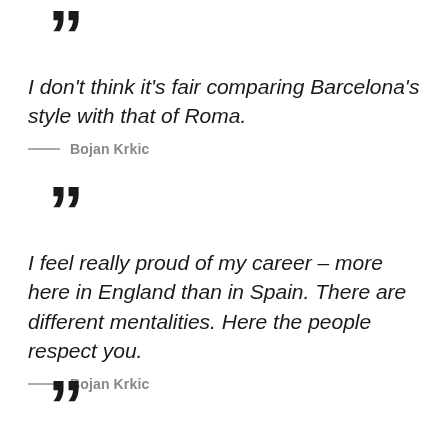”
I don’t think it’s fair comparing Barcelona’s style with that of Roma.
— Bojan Krkic
”
I feel really proud of my career – more here in England than in Spain. There are different mentalities. Here the people respect you.
— Bojan Krkic
”
I have a good relationship with the people, but like...